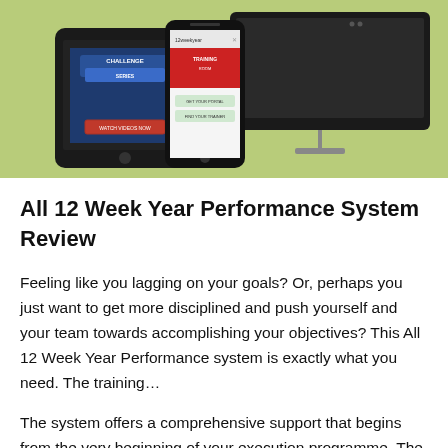[Figure (screenshot): Screenshot showing a tablet displaying 'Challenge Series' content and a smartphone showing '12 Week Year Training Room' app, with a desktop monitor in the background, on a green background]
All 12 Week Year Performance System Review
Feeling like you lagging on your goals? Or, perhaps you just want to get more disciplined and push yourself and your team towards accomplishing your objectives? This All 12 Week Year Performance system is exactly what you need. The training…
The system offers a comprehensive support that begins from the very beginning of your execution programme. The orientation call is conducted by